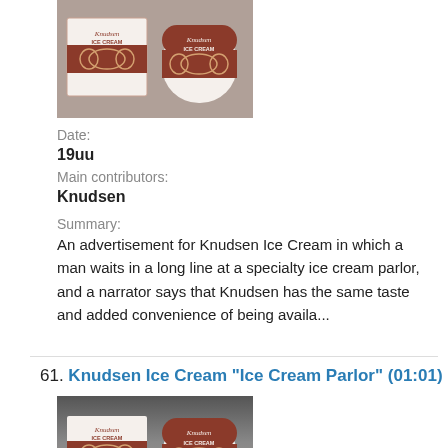[Figure (photo): Photo of Knudsen Ice Cream packaging — a box and a round container with brown and white design]
Date:
19uu
Main contributors:
Knudsen
Summary:
An advertisement for Knudsen Ice Cream in which a man waits in a long line at a specialty ice cream parlor, and a narrator says that Knudsen has the same taste and added convenience of being availa...
61. Knudsen Ice Cream "Ice Cream Parlor" (01:01)
[Figure (photo): Photo of Knudsen Ice Cream packaging — a box and a round container with brown and white design, similar to the first image]